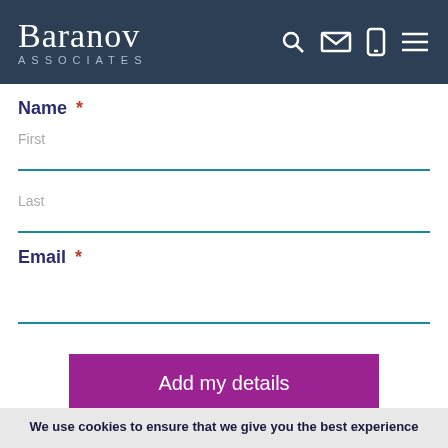Baranov Associates
Name *
First
Last
Email *
Add my details
We use cookies to ensure that we give you the best experience